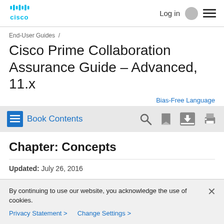Log in  ☰
End-User Guides  /
Cisco Prime Collaboration Assurance Guide – Advanced, 11.x
Bias-Free Language
Book Contents
Chapter: Concepts
Updated: July 26, 2016
By continuing to use our website, you acknowledge the use of cookies.
Privacy Statement >  Change Settings >